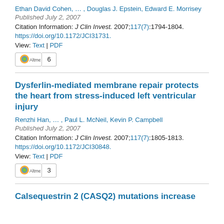Ethan David Cohen, … , Douglas J. Epstein, Edward E. Morrisey
Published July 2, 2007
Citation Information: J Clin Invest. 2007;117(7):1794-1804.
https://doi.org/10.1172/JCI31731.
View: Text | PDF
Altmetric 6
Dysferlin-mediated membrane repair protects the heart from stress-induced left ventricular injury
Renzhi Han, … , Paul L. McNeil, Kevin P. Campbell
Published July 2, 2007
Citation Information: J Clin Invest. 2007;117(7):1805-1813.
https://doi.org/10.1172/JCI30848.
View: Text | PDF
Altmetric 3
Calsequestrin 2 (CASQ2) mutations increase